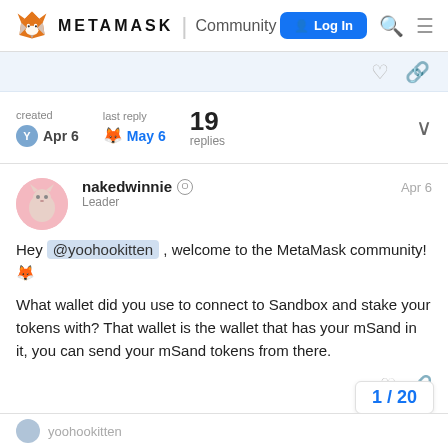METAMASK | Community  Log In
created Apr 6   last reply May 6   19 replies
nakedwinnie  Leader  Apr 6
Hey @yoohookitten , welcome to the MetaMask community! 🦊
What wallet did you use to connect to Sandbox and stake your tokens with? That wallet is the wallet that has your mSand in it, you can send your mSand tokens from there.
1 / 20